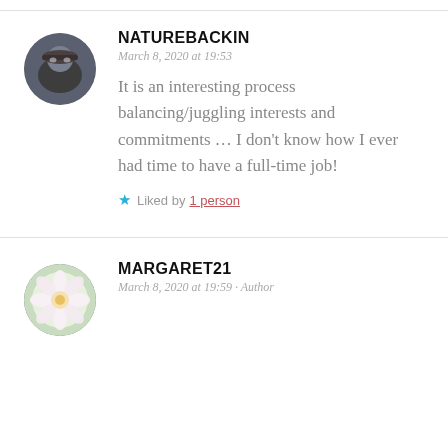[Figure (photo): Circular avatar photo of a person wearing a hat and glasses, dark tones]
NATUREBACKIN
March 8, 2020 at 19:53
It is an interesting process balancing/juggling interests and commitments … I don't know how I ever had time to have a full-time job!
★ Liked by 1 person
[Figure (photo): Circular avatar photo of a white flower with pink accents on a soft background]
MARGARET21
March 8, 2020 at 19:59 · Author